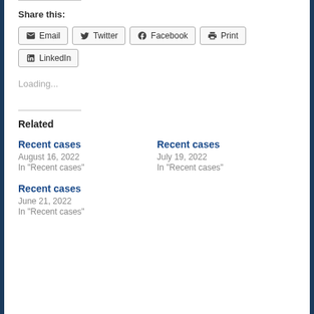Share this:
Email   Twitter   Facebook   Print   LinkedIn
Loading...
Related
Recent cases
August 16, 2022
In "Recent cases"
Recent cases
July 19, 2022
In "Recent cases"
Recent cases
June 21, 2022
In "Recent cases"